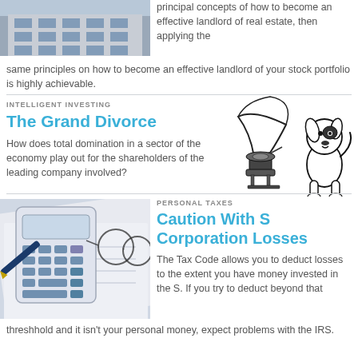[Figure (photo): Apartment building exterior with multiple floors and large windows]
principal concepts of how to become an effective landlord of real estate, then applying the same principles on how to become an effective landlord of your stock portfolio is highly achievable.
INTELLIGENT INVESTING
The Grand Divorce
How does total domination in a sector of the economy play out for the shareholders of the leading company involved?
[Figure (illustration): Black and white illustration of a dog listening to a gramophone (HMV style)]
[Figure (photo): Calculator, glasses, and financial documents on a desk]
PERSONAL TAXES
Caution With S Corporation Losses
The Tax Code allows you to deduct losses to the extent you have money invested in the S. If you try to deduct beyond that threshhold and it isn't your personal money, expect problems with the IRS.